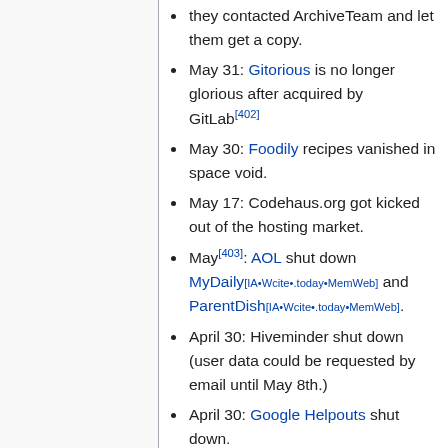they contacted ArchiveTeam and let them get a copy.
May 31: Gitorious is no longer glorious after acquired by GitLab[402]
May 30: Foodily recipes vanished in space void.
May 17: Codehaus.org got kicked out of the hosting market.
May[403]: AOL shut down MyDaily[IA•Wcite•.today•MemWeb] and ParentDish[IA•Wcite•.today•MemWeb].
April 30: Hiveminder shut down (user data could be requested by email until May 8th.)
April 30: Google Helpouts shut down.
April 30: Grooveshark shut down due to years of copyright issues.[404]
April 17: Yahoo's URL shortener y.ahoo.it drops its YQL table.
April 10: FriendFeed shut down, one